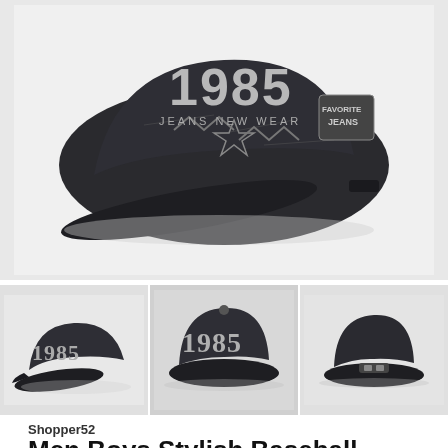[Figure (photo): Main product photo of a dark navy/black distressed baseball cap with '1985' embroidered lettering and 'JEANS NEW WEAR' text, star designs on the front panel, and 'FAVORITE JEANS' patch on the side]
[Figure (photo): Thumbnail 1: Side angle view of the black baseball cap showing '1985' embroidery on the front]
[Figure (photo): Thumbnail 2: Front-facing view of the black baseball cap showing '1985' embroidery]
[Figure (photo): Thumbnail 3: Rear view of the black baseball cap showing the back strap/closure]
Shopper52
Men Boys Stylish Baseball Denim Jeans Cap Boys Caps -